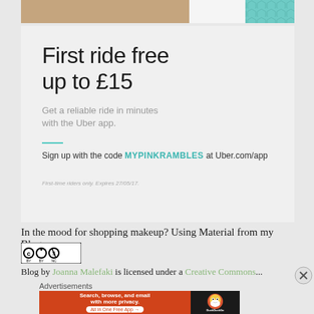[Figure (photo): Top portion of page showing a woman in camel/tan coat holding a bag, with teal geometric pattern on the right side]
First ride free up to £15
Get a reliable ride in minutes with the Uber app.
Sign up with the code MYPINKRAMBLES at Uber.com/app
First-time riders only. Expires 27/05/17.
In the mood for shopping makeup? Using Material from my Blog
[Figure (logo): Creative Commons BY-NC license badge]
Blog by Joanna Malefaki is licensed under a Creative Commons...
Advertisements
[Figure (screenshot): DuckDuckGo advertisement banner: Search, browse, and email with more privacy. All in One Free App]